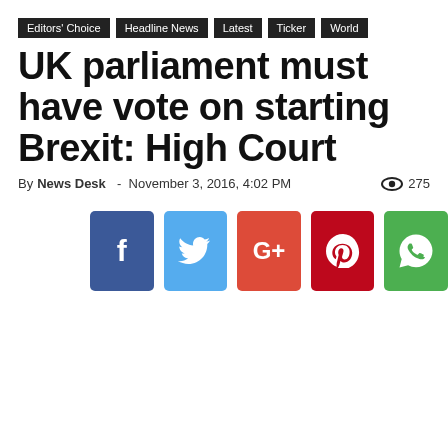Editors' Choice | Headline News | Latest | Ticker | World
UK parliament must have vote on starting Brexit: High Court
By News Desk - November 3, 2016, 4:02 PM  ● 275
[Figure (infographic): Social media share buttons: Facebook (blue), Twitter (light blue), Google+ (red-orange), Pinterest (dark red), WhatsApp (green)]